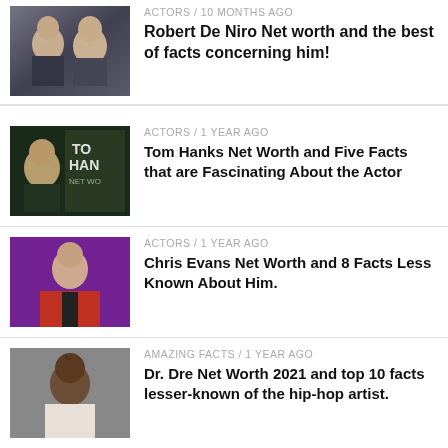[Figure (photo): Thumbnail image of Robert De Niro]
ACTORS / 10 months ago
Robert De Niro Net worth and the best of facts concerning him!
[Figure (photo): Thumbnail image of Tom Hanks]
ACTORS / 1 year ago
Tom Hanks Net Worth and Five Facts that are Fascinating About the Actor
[Figure (photo): Thumbnail image of Chris Evans]
ACTORS / 1 year ago
Chris Evans Net Worth and 8 Facts Less Known About Him.
[Figure (photo): Thumbnail image of Dr. Dre]
AMAZING FACTS / 1 year ago
Dr. Dre Net Worth 2021 and top 10 facts lesser-known of the hip-hop artist.
[Figure (photo): Thumbnail image collage of musicians]
AMAZING FACTS / 2 years ago
Ten Greatest Musicians Of All Time